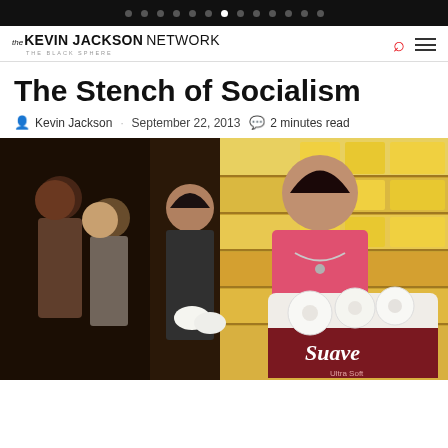Navigation dots bar
The Kevin Jackson Network - The Black Sphere
The Stench of Socialism
Kevin Jackson · September 22, 2013 · 2 minutes read
[Figure (photo): People in a store aisle holding rolls of toilet paper, including a woman in a pink shirt in the foreground holding a large pack of Suave branded toilet paper, with store shelves stocked with products visible in the background.]